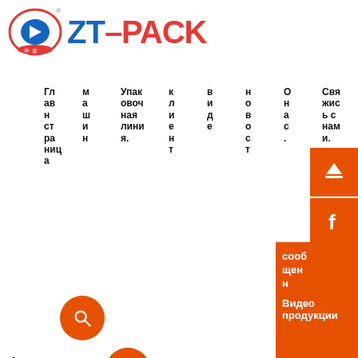[Figure (logo): ZT-PACK company logo with Chinese characters and circular emblem, blue and red text]
Главная страница.
машин
Упаковочная линия.
клиент
видео
новость
О нас.
Свяжись с нами.
[Figure (other): Orange search icon button (magnifying glass)]
Language
[Figure (other): Orange globe/language icon button]
а
Mixer
Tank
сообщен
Видео продукции
[Figure (other): Orange sidebar with social media icons: scroll to top, Facebook, YouTube, Twitter, Instagram]